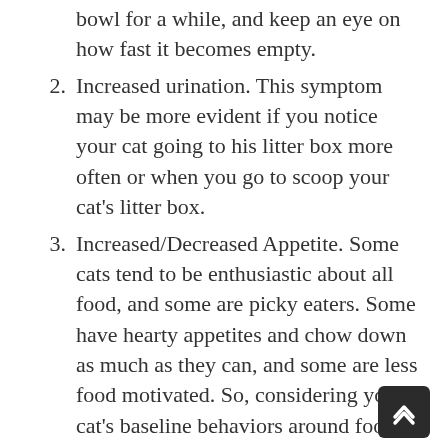bowl for a while, and keep an eye on how fast it becomes empty.
2. Increased urination. This symptom may be more evident if you notice your cat going to his litter box more often or when you go to scoop your cat’s litter box.
3. Increased/Decreased Appetite. Some cats tend to be enthusiastic about all food, and some are picky eaters. Some have hearty appetites and chow down as much as they can, and some are less food motivated. So, considering your cat’s baseline behaviors around food, look for any changes in his appetite.
4. Weight Loss. Your cat may start to lose weight, despite the amount of food he consumes.
5. Weakness in Hind Legs/Limping. High blood sugar levels can affect the nerves in